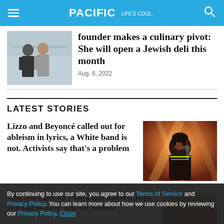PACIFIC Life's cool
founder makes a culinary pivot: She will open a Jewish deli this month
Aug. 8, 2022
LATEST STORIES
Lizzo and Beyoncé called out for ableism in lyrics, a White band is not. Activists say that's a problem
[Figure (photo): Singer performing on stage with microphone]
'Just don't give up': San Diego native ... hope in debut memoir 'I'm Not Broken'
By continuing to use our site, you agree to our Terms of Service and Privacy Policy. You can learn more about how we use cookies by reviewing our Privacy Policy. Close